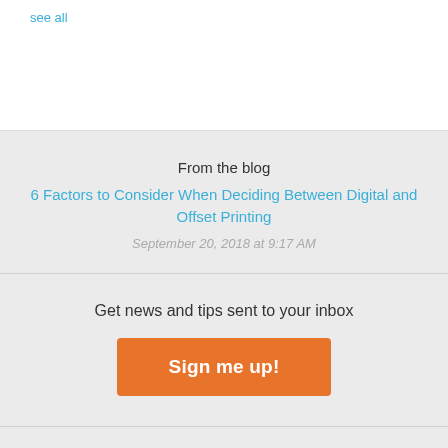see all
From the blog
6 Factors to Consider When Deciding Between Digital and Offset Printing
September 20, 2018 at 9:17 AM
Get news and tips sent to your inbox
Sign me up!